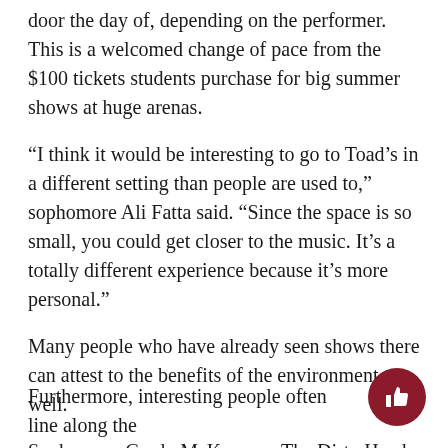door the day of, depending on the performer. This is a welcomed change of pace from the $100 tickets students purchase for big summer shows at huge arenas.
“I think it would be interesting to go to Toad’s in a different setting than people are used to,” sophomore Ali Fatta said. “Since the space is so small, you could get closer to the music. It’s a totally different experience because it’s more personal.”
Many people who have already seen shows there can attest to the benefits of the environment as well.
Sophomore Grady McKay saw The Dirty Heads at Toad’s.
“Toad’s is a great place for concerts because anywhere you are in the crowd is close to the stage,” he said. “It’s an intense environment where you feel more connected with the performer than you would in a larger venue”.
Furthermore, interesting people often line along the sides...